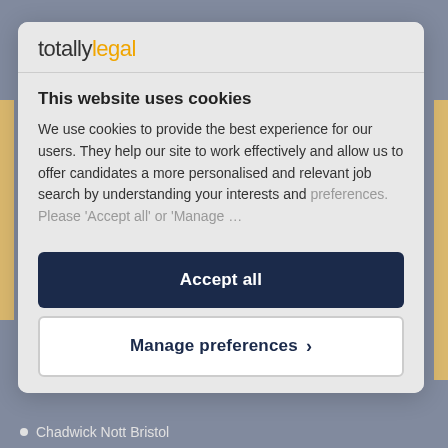[Figure (logo): totallylegal logo with 'totally' in dark grey and 'legal' in yellow/gold]
This website uses cookies
We use cookies to provide the best experience for our users. They help our site to work effectively and allow us to offer candidates a more personalised and relevant job search by understanding your interests and preferences. Please 'Accept all' or 'Manage...
Accept all
Manage preferences >
Chadwick Nott Bristol